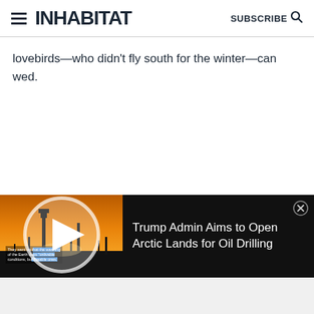INHABITAT | SUBSCRIBE
lovebirds—who didn't fly south for the winter—can wed.
[Figure (screenshot): Video player thumbnail showing an oil drilling rig silhouetted against an orange sunset sky, with overlaid text about Earth warming and conditions. A play button is visible in the center.]
Trump Admin Aims to Open Arctic Lands for Oil Drilling